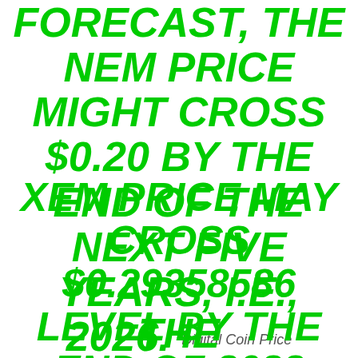FORECAST, THE NEM PRICE MIGHT CROSS $0.20 BY THE END OF THE NEXT FIVE YEARS, I.E., 2026. Digital Coin Price
XEM PRICE MAY CROSS $0.29358586 LEVEL BY THE END OF 2022 AND $1.385 MARK BY 2026. GOV Capital
THE PREDICTIONS ARE